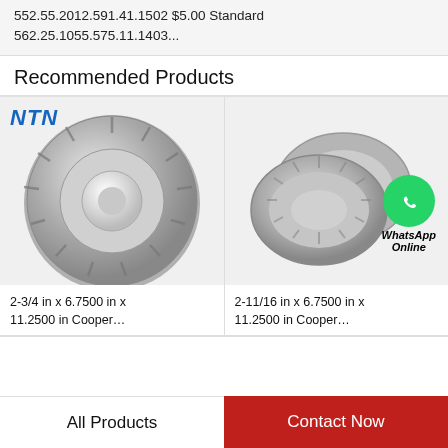552.55.2012.591.41.1502 $5.00 Standard 562.25.1055.575.11.1403...
Recommended Products
[Figure (photo): NTN branded tapered roller bearing, single cone, metallic gray, on white/gray background. NTN logo in blue italic at top left.]
2-3/4 in x 6.7500 in x 11.2500 in Cooper...
[Figure (photo): Tapered roller bearing cup (outer ring only), metallic gray, two pieces slightly separated, with WhatsApp Online green chat bubble overlay in bottom right.]
2-11/16 in x 6.7500 in x 11.2500 in Cooper...
All Products
Contact Now